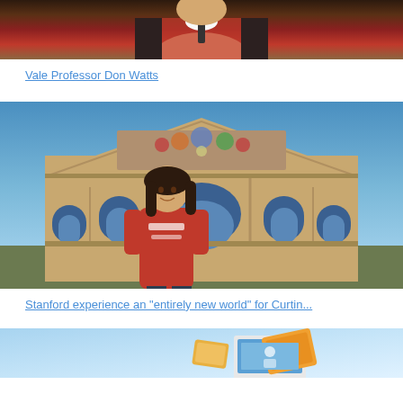[Figure (photo): A person wearing academic regalia with red and black robes and a dark tie, photographed from chest up]
Vale Professor Don Watts
[Figure (photo): A young woman wearing a red Stanford Summer Session t-shirt standing in front of a ornate university building with mosaic and arched windows under a blue sky]
Stanford experience an "entirely new world" for Curtin...
[Figure (photo): Illustration showing digital devices including a laptop and tablet on a blue background]